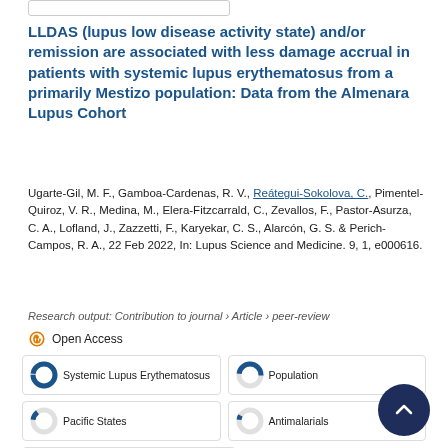LLDAS (lupus low disease activity state) and/or remission are associated with less damage accrual in patients with systemic lupus erythematosus from a primarily Mestizo population: Data from the Almenara Lupus Cohort
Ugarte-Gil, M. F., Gamboa-Cardenas, R. V., Reátegui-Sokolova, C., Pimentel-Quiroz, V. R., Medina, M., Elera-Fitzcarrald, C., Zevallos, F., Pastor-Asurza, C. A., Lofland, J., Zazzetti, F., Karyekar, C. S., Alarcón, G. S. & Perich-Campos, R. A., 22 Feb 2022, In: Lupus Science and Medicine. 9, 1, e000616.
Research output: Contribution to journal › Article › peer-review
Open Access
Systemic Lupus Erythematosus
Population
Pacific States
Antimalarials
Rheumatology